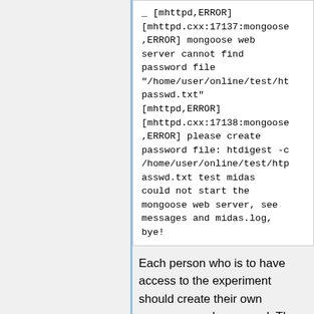[mhttpd,ERROR] [mhttpd.cxx:17137:mongoose,ERROR] mongoose web server cannot find password file "/home/user/online/test/htpasswd.txt" [mhttpd,ERROR] [mhttpd.cxx:17138:mongoose,ERROR] please create password file: htdigest -c /home/user/online/test/htpasswd.txt test midas could not start the mongoose web server, see messages and midas.log, bye!
Each person who is to have access to the experiment should create their own username and password. The first user (e.g. mary) creates the password file e.g. htpasswd.txt